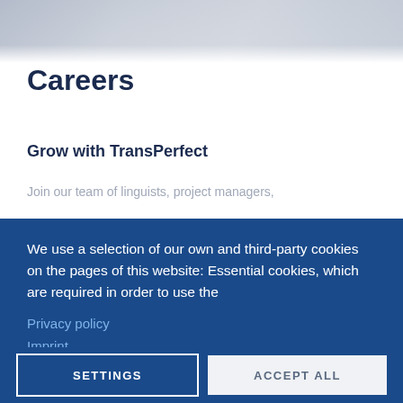[Figure (photo): Blurred background image of people, shown at the top of the page in grayscale/muted tones]
Careers
Grow with TransPerfect
Join our team of linguists, project managers,
We use a selection of our own and third-party cookies on the pages of this website: Essential cookies, which are required in order to use the
Privacy policy
Imprint
SETTINGS
ACCEPT ALL